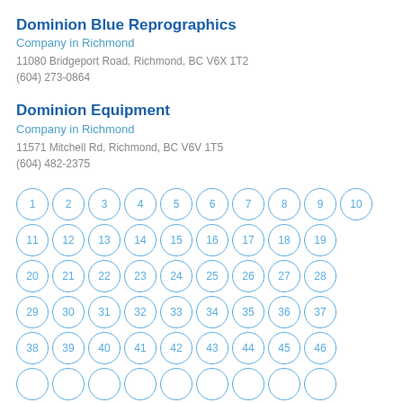Dominion Blue Reprographics
Company in Richmond
11080 Bridgeport Road, Richmond, BC V6X 1T2
(604) 273-0864
Dominion Equipment
Company in Richmond
11571 Mitchell Rd, Richmond, BC V6V 1T5
(604) 482-2375
[Figure (infographic): Grid of numbered circles from 1 to 46+ arranged in rows of 9-10 circles each, with blue outlined circles containing numbers in blue text]